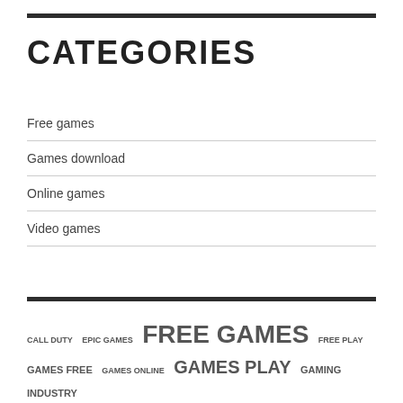CATEGORIES
Free games
Games download
Online games
Video games
CALL DUTY  EPIC GAMES  FREE GAMES  FREE PLAY  GAMES FREE  GAMES ONLINE  GAMES PLAY  GAMING INDUSTRY  NINTENDO SWITCH  ONLINE GAMES  ONLINE GAMING